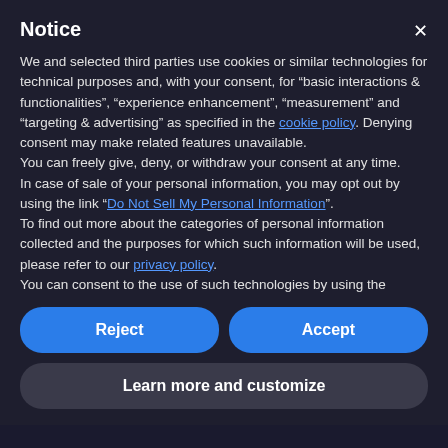Notice
We and selected third parties use cookies or similar technologies for technical purposes and, with your consent, for “basic interactions & functionalities”, “experience enhancement”, “measurement” and “targeting & advertising” as specified in the cookie policy. Denying consent may make related features unavailable.
You can freely give, deny, or withdraw your consent at any time.
In case of sale of your personal information, you may opt out by using the link “Do Not Sell My Personal Information”.
To find out more about the categories of personal information collected and the purposes for which such information will be used, please refer to our privacy policy.
You can consent to the use of such technologies by using the
Reject
Accept
Learn more and customize